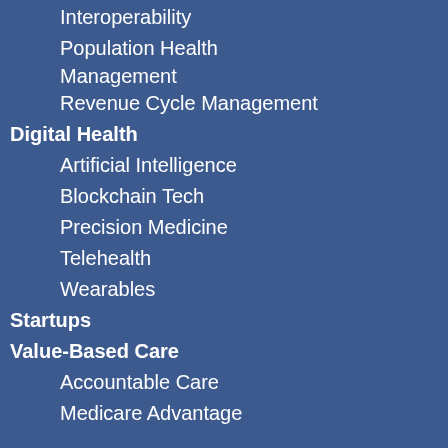Interoperability
Population Health Management
Revenue Cycle Management
Digital Health
Artificial Intelligence
Blockchain Tech
Precision Medicine
Telehealth
Wearables
Startups
Value-Based Care
Accountable Care
Medicare Advantage
Connect
[Figure (screenshot): Social media icons bar with infolinks branding and Facebook, Twitter, Google+, LinkedIn icons]
[Figure (screenshot): Advertisement banner: Pet Food, Products, Supplies at Low Prices - chewy.com]